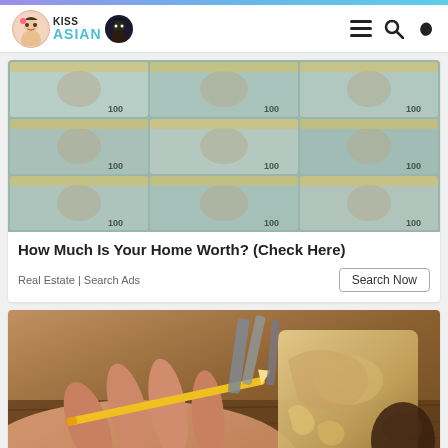KISS ASIAN
[Figure (photo): Stack of US $100 dollar bills arranged in a grid pattern]
How Much Is Your Home Worth? (Check Here)
Real Estate | Search Ads
[Figure (photo): Hands carving wood with a pencil and woodworking tools on a workbench]